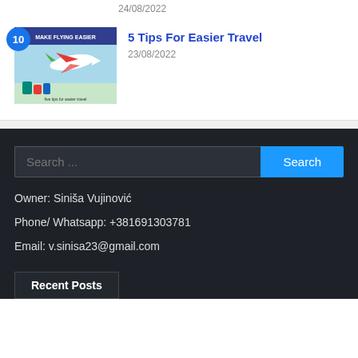24/08/2022
[Figure (photo): Dark thumbnail image of a person]
10 — 5 Tips For Easier Travel — 23/08/2022
[Figure (illustration): Travel themed illustration with airplane, luggage, and text 'MAKE FLYING EASIER / five tips for easier travel']
5 Tips For Easier Travel
23/08/2022
Search ...
Owner: Siniša Vujinović
Phone/ Whatsapp: +381691303781
Email: v.sinisa23@gmail.com
Recent Posts